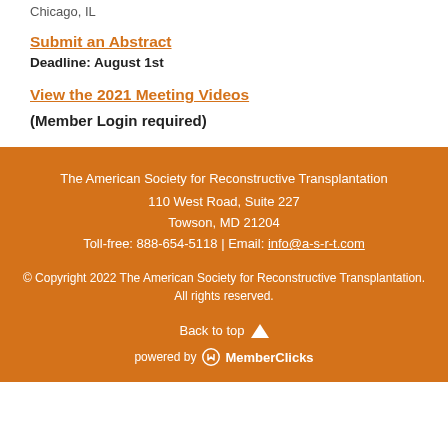Chicago, IL
Submit an Abstract
Deadline: August 1st
View the 2021 Meeting Videos
(Member Login required)
The American Society for Reconstructive Transplantation
110 West Road, Suite 227
Towson, MD 21204
Toll-free: 888-654-5118 | Email: info@a-s-r-t.com

© Copyright 2022 The American Society for Reconstructive Transplantation. All rights reserved.

Back to top

powered by MemberClicks